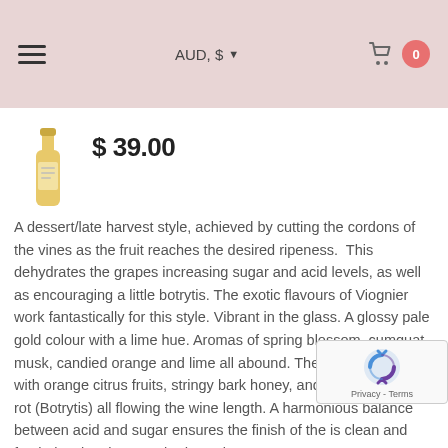AUD, $ ▾   🛒  0
$ 39.00
A dessert/late harvest style, achieved by cutting the cordons of the vines as the fruit reaches the desired ripeness.  This dehydrates the grapes increasing sugar and acid levels, as well as encouraging a little botrytis. The exotic flavours of Viognier work fantastically for this style.
Vibrant in the glass. A glossy pale gold colour with a lime hue. Aromas of spring blossom, cumquat, musk, candied orange and lime all abound. The palate is intense with orange citrus fruits, stringy bark honey, and a touch of noble rot (Botrytis) all flowing the wine length. A harmonious balance between acid and sugar ensures the finish of the is clean and fresh, leaving the taste bu wanting more.